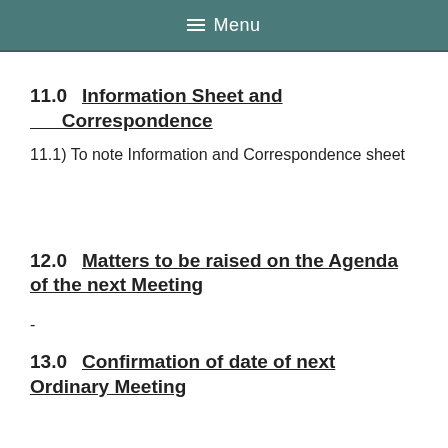Menu
11.0    Information Sheet and Correspondence
11.1) To note Information and Correspondence sheet
12.0    Matters to be raised on the Agenda of the next Meeting
-
13.0    Confirmation of date of next Ordinary Meeting